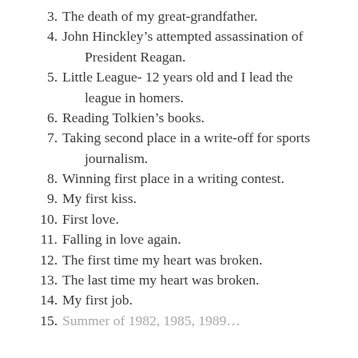3. The death of my great-grandfather.
4. John Hinckley’s attempted assassination of President Reagan.
5. Little League- 12 years old and I lead the league in homers.
6. Reading Tolkien’s books.
7. Taking second place in a write-off for sports journalism.
8. Winning first place in a writing contest.
9. My first kiss.
10. First love.
11. Falling in love again.
12. The first time my heart was broken.
13. The last time my heart was broken.
14. My first job.
15. Summer of 1982, 1985, 1989…